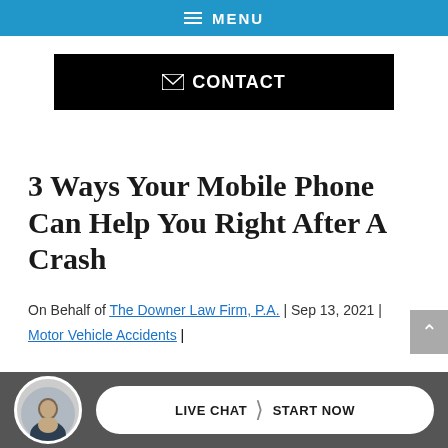≡ MENU
[Figure (screenshot): Black contact button with envelope icon and text CONTACT]
3 Ways Your Mobile Phone Can Help You Right After A Crash
On Behalf of The Downer Law Firm, P.A. | Sep 13, 2021 |
Motor Vehicle Accidents |
[Figure (photo): Circular avatar photo of a man in a suit]
LIVE CHAT  START NOW